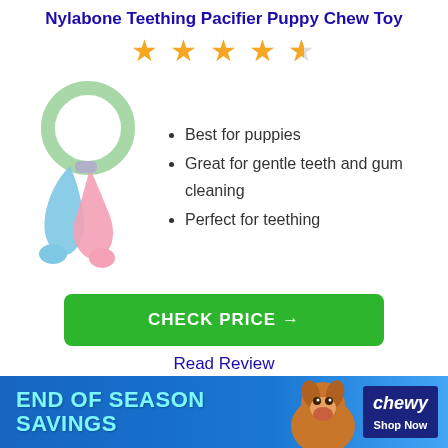Nylabone Teething Pacifier Puppy Chew Toy
[Figure (other): Star rating: 4.5 out of 5 stars (4 full stars and 1 half star)]
[Figure (photo): Nylabone Teething Pacifier Puppy Chew Toy product image - colorful teething toy with green ring and blue/pink chew pieces]
Best for puppies
Great for gentle teeth and gum cleaning
Perfect for teething
CHECK PRICE →
Read Review
Nylabone DuraChew Dental Chew Chicken Flavored Dinosaur Dog Chew Toy
[Figure (other): Star rating shown partially]
[Figure (infographic): End of Season Savings banner ad for Chewy.com with dog image and Shop Now button]